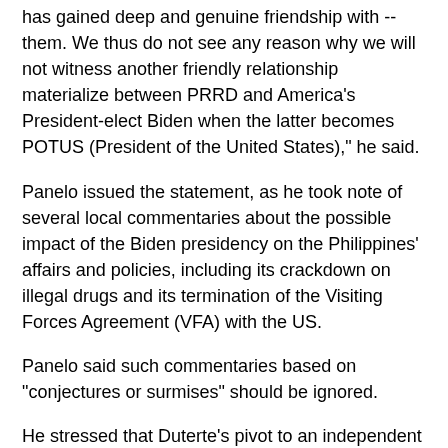has gained deep and genuine friendship with -- them. We thus do not see any reason why we will not witness another friendly relationship materialize between PRRD and America's President-elect Biden when the latter becomes POTUS (President of the United States)," he said.
Panelo issued the statement, as he took note of several local commentaries about the possible impact of the Biden presidency on the Philippines' affairs and policies, including its crackdown on illegal drugs and its termination of the Visiting Forces Agreement (VFA) with the US.
Panelo said such commentaries based on “conjectures or surmises” should be ignored.
He stressed that Duterte's pivot to an independent foreign policy means maintaining a friendship with all nations, including the US.
“President Rodrigo Roa Duterte has chartered and transformed the policy on our country's foreign relations to one which fosters amity but, at the same time, promotes sovereign independence. We have, therefore, begun to enjoy the fruits of our head of state's thrust on diplomacy where our country is considered a friend to all and an